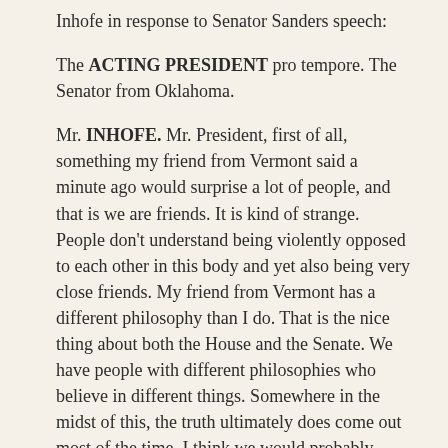Inhofe in response to Senator Sanders speech:
The ACTING PRESIDENT pro tempore. The Senator from Oklahoma.
Mr. INHOFE. Mr. President, first of all, something my friend from Vermont said a minute ago would surprise a lot of people, and that is we are friends. It is kind of strange. People don't understand being violently opposed to each other in this body and yet also being very close friends. My friend from Vermont has a different philosophy than I do. That is the nice thing about both the House and the Senate. We have people with different philosophies who believe in different things. Somewhere in the midst of this, the truth ultimately does come out most of the time. I think we would probably agree with that.
One thing I like about my friend from Vermont is he really believes and is willing to stand up and fight for something he believes. I am not going to suggest there are hypocrites